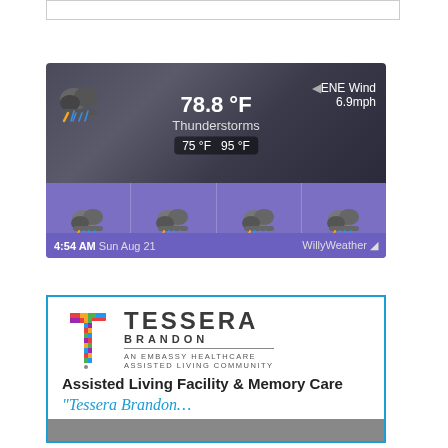[Figure (screenshot): Weather widget screenshot showing 78.8°F, Thunderstorms, ENE Wind 6.9mph, temperature range 75-95°F, and 4-day forecast (MON-THU) with thunderstorm icons. Timestamp: 4:54 AM Sun Aug 21. WillyWeather branding.]
[Figure (screenshot): Advertisement for Tessera Brandon assisted living facility. Shows colorful T logo, 'TESSERA BRANDON - AN EMBASSY HEALTHCARE ASSISTED LIVING COMMUNITY'. Text: 'Assisted Living Facility & Memory Care' and tagline 'Tessera Brandon… Living your lifestyle.']